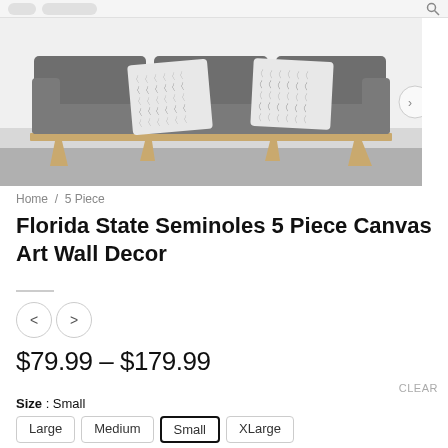[Figure (photo): Photo of a gray mid-century modern sofa with two decorative black and white chevron throw pillows, wooden legs, on a dark floor against a white wall.]
Home / 5 Piece
Florida State Seminoles 5 Piece Canvas Art Wall Decor
< >  (navigation arrows)
$79.99 – $179.99
CLEAR
Size : Small
Large  Medium  Small  XLarge